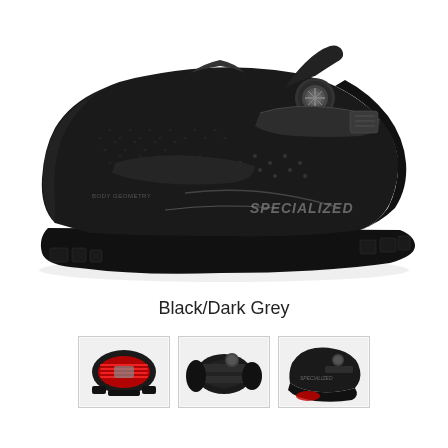[Figure (photo): Black Specialized mountain bike cycling shoe with BOA dial closure, two velcro straps, mesh upper, and lugged rubber sole. Side profile view showing 'SPECIALIZED' logo and 'BODY GEOMETRY' text on the shoe.]
Black/Dark Grey
[Figure (photo): Three thumbnail images of the same Specialized cycling shoe: bottom sole view with red cleat area, top view from above, and angled side view - all showing black/dark grey colorway.]